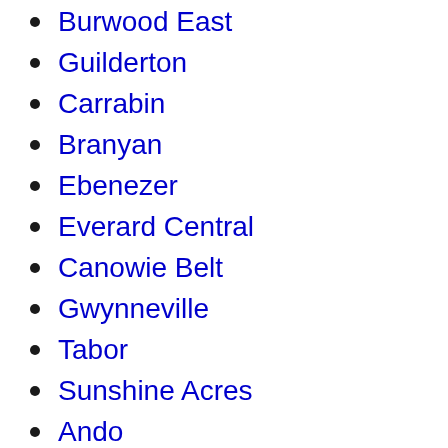Burwood East
Guilderton
Carrabin
Branyan
Ebenezer
Everard Central
Canowie Belt
Gwynneville
Tabor
Sunshine Acres
Ando